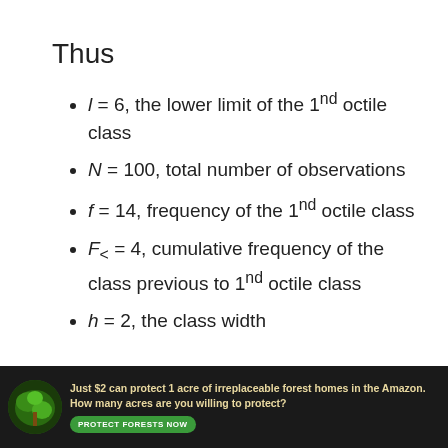Thus
l = 6, the lower limit of the 1nd octile class
N = 100, total number of observations
f = 14, frequency of the 1nd octile class
F< = 4, cumulative frequency of the class previous to 1nd octile class
h = 2, the class width
The first octile O₁ can be computed as
[Figure (photo): Advertisement banner: forest/Amazon conservation ad reading 'Just $2 can protect 1 acre of irreplaceable forest homes in the Amazon. How many acres are you willing to protect?' with a green 'PROTECT FORESTS NOW' button.]